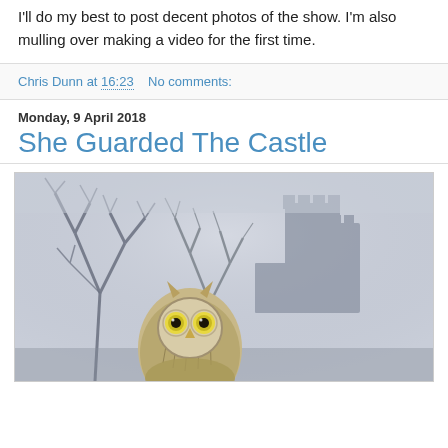I'll do my best to post decent photos of the show. I'm also mulling over making a video for the first time.
Chris Dunn at 16:23    No comments:
Monday, 9 April 2018
She Guarded The Castle
[Figure (illustration): Painting of a short-eared owl in the foreground with bare winter trees and a misty castle silhouette in the background, rendered in grey and blue tones.]